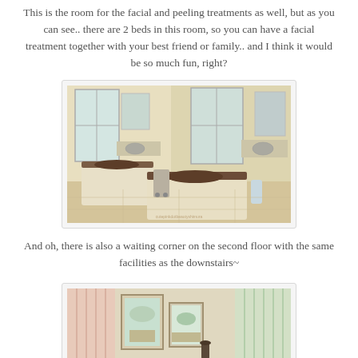This is the room for the facial and peeling treatments as well, but as you can see.. there are 2 beds in this room, so you can have a facial treatment together with your best friend or family.. and I think it would be so much fun, right?
[Figure (photo): Interior of a spa facial treatment room with two treatment beds covered in white linens with brown bolster pillows, medical equipment carts, sinks, mirrors, and large windows providing natural light.]
And oh, there is also a waiting corner on the second floor with the same facilities as the downstairs~
[Figure (photo): Partial view of a waiting area with sheer curtains in pink and green tones, framed artwork on the wall, and soft ambient lighting.]